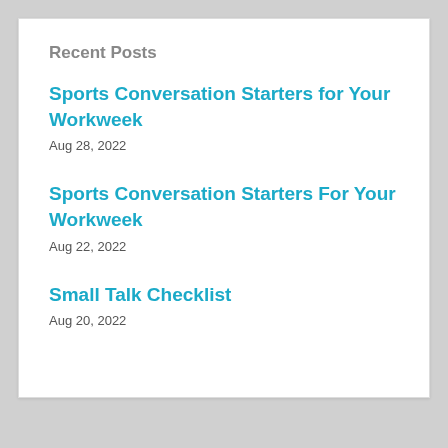Recent Posts
Sports Conversation Starters for Your Workweek
Aug 28, 2022
Sports Conversation Starters For Your Workweek
Aug 22, 2022
Small Talk Checklist
Aug 20, 2022